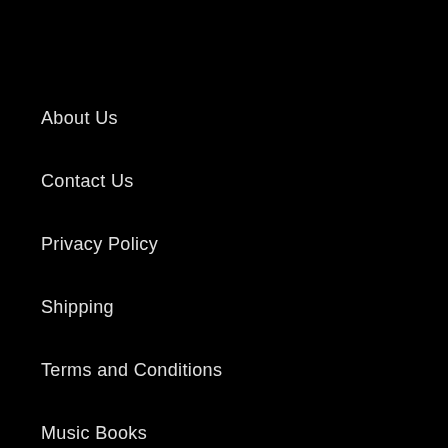About Us
Contact Us
Privacy Policy
Shipping
Terms and Conditions
Music Books
Sell Your Gear